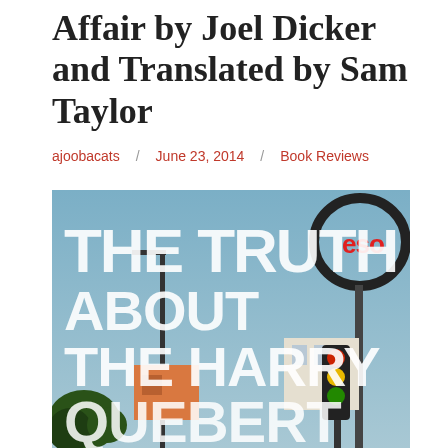Affair by Joel Dicker and Translated by Sam Taylor
ajoobacats / June 23, 2014 / Book Reviews
[Figure (photo): Book cover of 'The Truth About the Harry Quebert Affair' showing a painted street scene with an Esso gas station sign, buildings, traffic light, and large white bold text overlay reading THE TRUTH ABOUT THE HARRY QUEBERT]